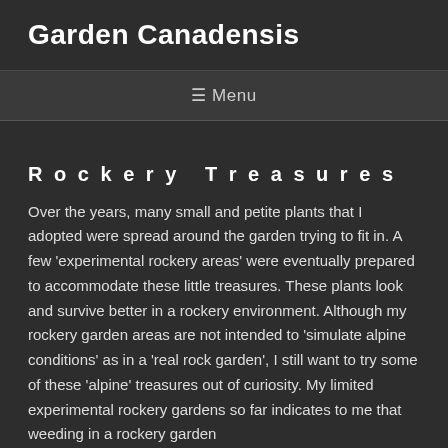Garden Canadensis
☰ Menu
Rockery Treasures
Over the years, many small and petite plants that I adopted were spread around the garden trying to fit in. A few 'experimental rockery areas' were eventually prepared to accommodate these little treasures. These plants look and survive better in a rockery environment. Although my rockery garden areas are not intended to 'simulate alpine conditions' as in a 'real rock garden', I still want to try some of these 'alpine' treasures out of curiosity. My limited experimental rockery gardens so far indicates to me that weeding in a rockery garden